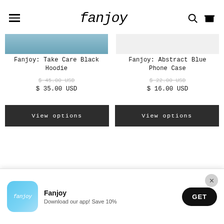fanjoy — navigation header with hamburger menu, logo, search and cart icons
[Figure (screenshot): Partial product image strip for Fanjoy: Take Care Black Hoodie]
Fanjoy: Take Care Black Hoodie
$ 45.00 USD (strikethrough original price)
$ 35.00 USD
View options
[Figure (screenshot): Partial product image area for Fanjoy: Abstract Blue Phone Case]
Fanjoy: Abstract Blue Phone Case
$ 22.00 USD (strikethrough original price)
$ 16.00 USD
View options
$ 15.00 USD
$ 40.00 USD
[Figure (screenshot): App download popup: Fanjoy logo icon, text 'Fanjoy — Download our app! Save 10%', GET button, and close X button]